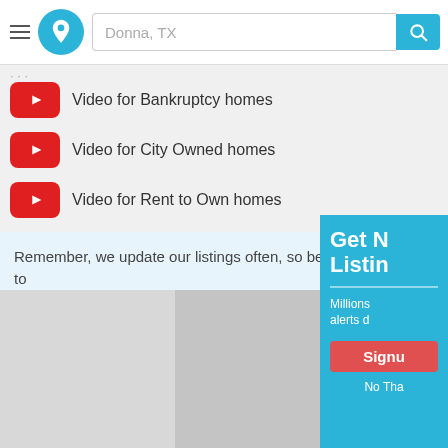Donna, TX
Video for Bankruptcy homes
Video for City Owned homes
Video for Rent to Own homes
Remember, we update our listings often, so be sure to back daily!
[Figure (screenshot): Map or image placeholder area, gray background]
Get N Listin Millions alerts d Signu No Tha